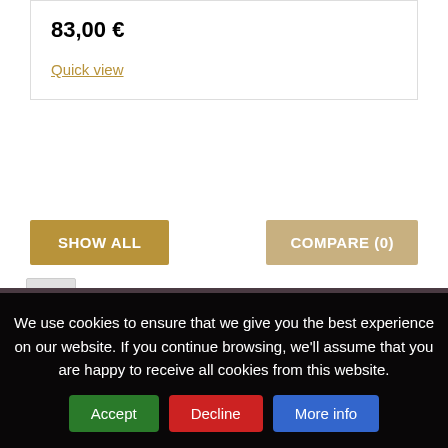83,00 €
Quick view
SHOW ALL
COMPARE (0)
1 2 3 .... 6
Showing 1 – 12 of 65 items
We use cookies to ensure that we give you the best experience on our website. If you continue browsing, we'll assume that you are happy to receive all cookies from this website.
Accept
Decline
More info